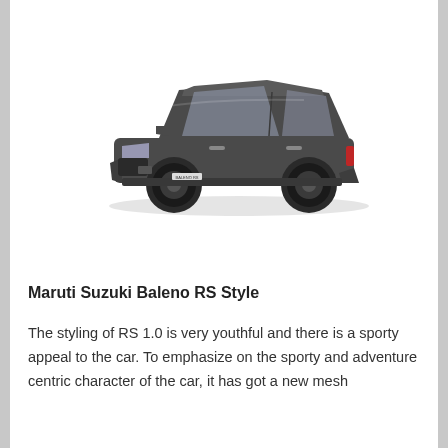[Figure (photo): Maruti Suzuki Baleno RS hatchback car in dark grey metallic color, shown in a 3/4 front-left view on a white background with a subtle shadow beneath it.]
Maruti Suzuki Baleno RS Style
The styling of RS 1.0 is very youthful and there is a sporty appeal to the car. To emphasize on the sporty and adventure centric character of the car, it has got a new mesh